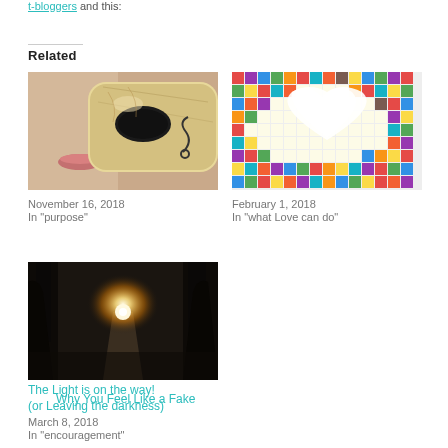and this:
Related
[Figure (photo): Close-up of a person holding a decorative Venetian mask in front of their face]
Why You Feel Like a Fake
November 16, 2018
In "purpose"
[Figure (photo): Colorful mosaic artwork showing two people or figures in bright tiles]
Love is Creative
February 1, 2018
In "what Love can do"
[Figure (photo): Dark forest path with bright sunlight glowing through trees at dusk]
The Light is on the way! (or Leaving the darkness)
March 8, 2018
In "encouragement"